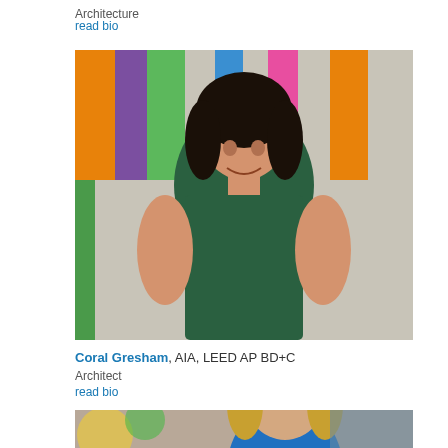Architecture
read bio
[Figure (photo): Professional headshot of Coral Gresham, a woman in a dark green dress standing in front of a colorful striped wall with orange, purple, green, blue, and pink vertical bands]
Coral Gresham, AIA, LEED AP BD+C
Architect
read bio
[Figure (photo): Professional headshot of a woman with blonde hair wearing a blue top, standing in front of a blurred colorful background]